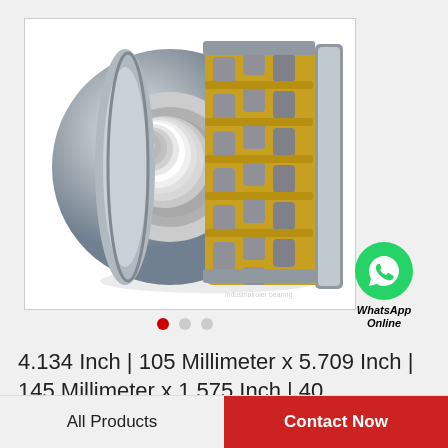[Figure (photo): Spherical roller bearing with silver/chrome outer ring and gold/yellow cage with cylindrical rollers, shown in 3D perspective view against white background]
4.134 Inch | 105 Millimeter x 5.709 Inch | 145 Millimeter x 1.575 Inch | 40 Millimeter…
All Products
Contact Now